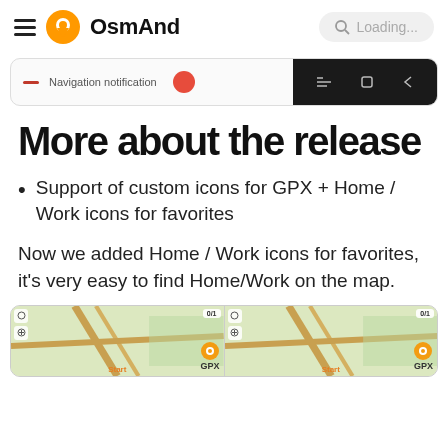OsmAnd
[Figure (screenshot): Navigation notification bar with red dash icon and label, and dark Android navigation bar on right]
More about the release
Support of custom icons for GPX + Home / Work icons for favorites
Now we added Home / Work icons for favorites, it's very easy to find Home/Work on the map.
[Figure (screenshot): Two map screenshots showing GPX icons and navigation markers]